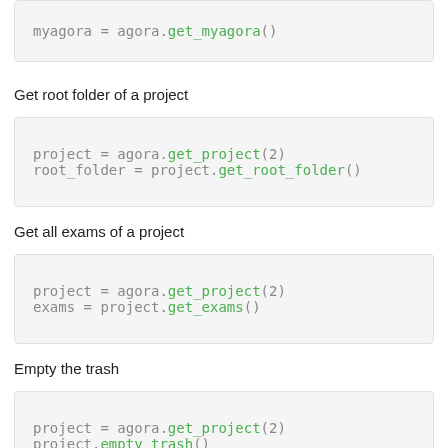myagora = agora.get_myagora()
Get root folder of a project
project = agora.get_project(2)
root_folder = project.get_root_folder()
Get all exams of a project
project = agora.get_project(2)
exams = project.get_exams()
Empty the trash
project = agora.get_project(2)
project.empty_trash()